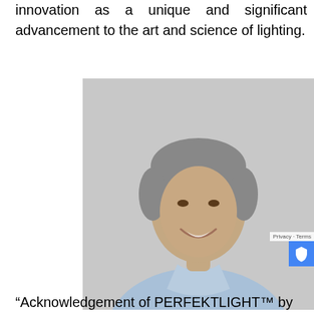innovation as a unique and significant advancement to the art and science of lighting.
[Figure (photo): Portrait photo of a middle-aged man with grey hair, smiling, wearing a light blue collared shirt, against a light grey background.]
“Acknowledgement of PERFEKTLIGHT™ by